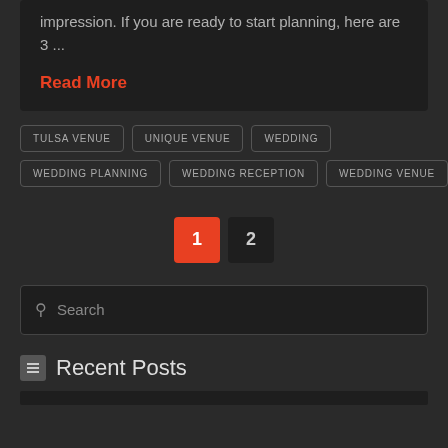impression. If you are ready to start planning, here are 3 ...
Read More
TULSA VENUE
UNIQUE VENUE
WEDDING
WEDDING PLANNING
WEDDING RECEPTION
WEDDING VENUE
1  2
Search
Recent Posts